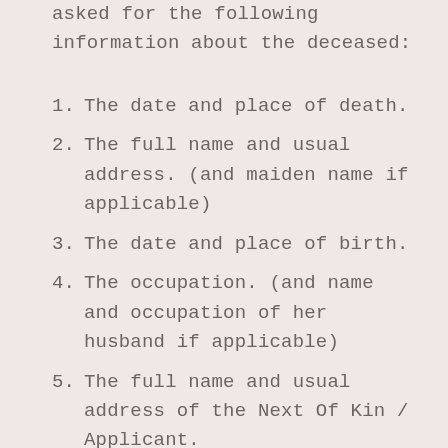asked for the following information about the deceased:
The date and place of death.
The full name and usual address. (and maiden name if applicable)
The date and place of birth.
The occupation. (and name and occupation of her husband if applicable)
The full name and usual address of the Next Of Kin / Applicant.
A Death Certificate can then be obtained on payment of the prescribed